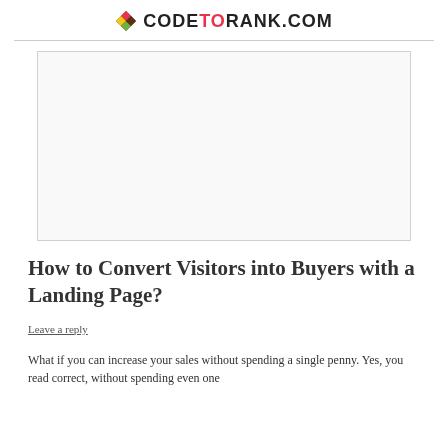CODETORANK.COM
[Figure (other): Advertisement placeholder box, white/light gray with border]
How to Convert Visitors into Buyers with a Landing Page?
Leave a reply
What if you can increase your sales without spending a single penny. Yes, you read correct, without spending even one